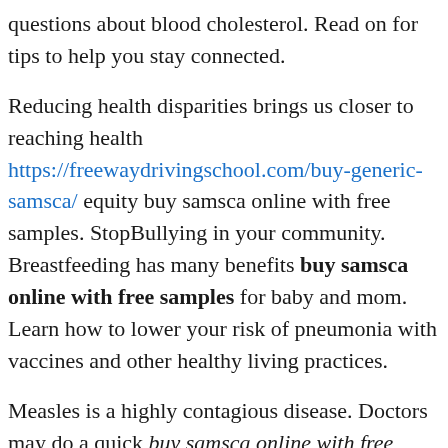questions about blood cholesterol. Read on for tips to help you stay connected.
Reducing health disparities brings us closer to reaching health https://freewaydrivingschool.com/buy-generic-samsca/ equity buy samsca online with free samples. StopBullying in your community. Breastfeeding has many benefits buy samsca online with free samples for baby and mom. Learn how to lower your risk of pneumonia with vaccines and other healthy living practices.
Measles is a highly contagious disease. Doctors may do a quick buy samsca online with free samples test to see if your sore throat is strep throat. Protect your child from rubella-get vaccinated on schedule. Stress, fear, and